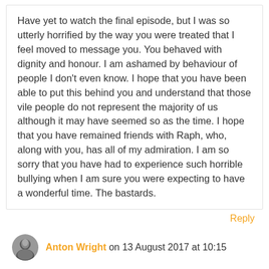Have yet to watch the final episode, but I was so utterly horrified by the way you were treated that I feel moved to message you. You behaved with dignity and honour. I am ashamed by behaviour of people I don't even know. I hope that you have been able to put this behind you and understand that those vile people do not represent the majority of us although it may have seemed so as the time. I hope that you have remained friends with Raph, who, along with you, has all of my admiration. I am so sorry that you have had to experience such horrible bullying when I am sure you were expecting to have a wonderful time. The bastards.
Reply
Anton Wright on 13 August 2017 at 10:15